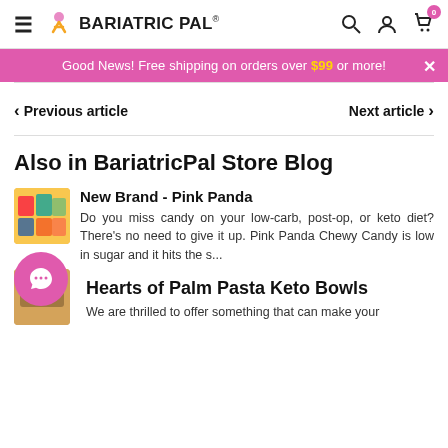BARIATRICPAL
Good News! Free shipping on orders over $99 or more!
< Previous article    Next article >
Also in BariatricPal Store Blog
New Brand - Pink Panda
Do you miss candy on your low-carb, post-op, or keto diet? There's no need to give it up. Pink Panda Chewy Candy is low in sugar and it hits the s...
Hearts of Palm Pasta Keto Bowls
We are thrilled to offer something that can make your